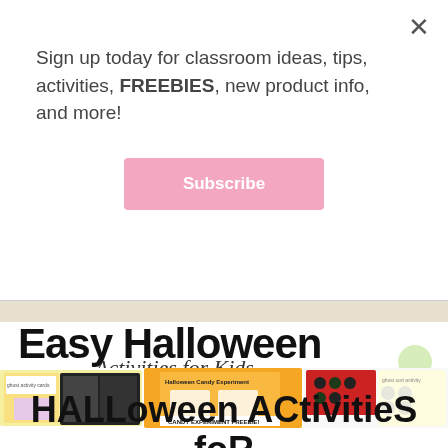Sign up today for classroom ideas, tips, activities, FREEBIES, new product info, and more!
[Figure (screenshot): Pink 'Subscribe' button for newsletter signup]
[Figure (illustration): Easy Halloween Activities for Kids banner graphic with worksheet and activity collage images]
HALLoween ACtivitieS foR kidS